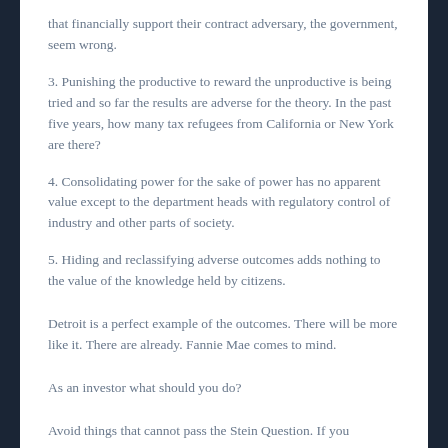that financially support their contract adversary, the government, seem wrong.
3. Punishing the productive to reward the unproductive is being tried and so far the results are adverse for the theory. In the past five years, how many tax refugees from California or New York are there?
4. Consolidating power for the sake of power has no apparent value except to the department heads with regulatory control of industry and other parts of society.
5. Hiding and reclassifying adverse outcomes adds nothing to the value of the knowledge held by citizens.
Detroit is a perfect example of the outcomes. There will be more like it. There are already. Fannie Mae comes to mind.
As an investor what should you do?
Avoid things that cannot pass the Stein Question. If you